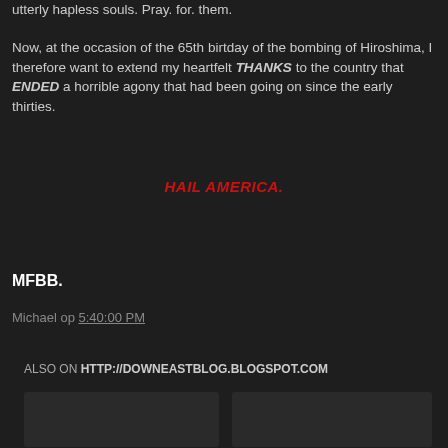utterly hapless souls. Pray. for. them.
Now, at the occasion of the 65th birtday of the bombing of Hiroshima, I therefore want to extend my heartfelt THANKS to the country that ENDED a horrible agony that had been going on since the early thirties.
HAIL AMERICA.
MFBB.
Michael op 5:40:00 PM
ALSO ON HTTP://DOWNEASTBLOG.BLOGSPOT.COM